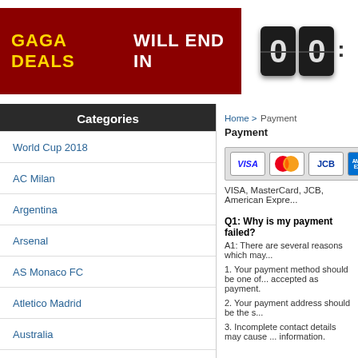GAGA DEALS will end in 00 :
Categories
World Cup 2018
AC Milan
Argentina
Arsenal
AS Monaco FC
Atletico Madrid
Australia
Barcelona
Bayern Munich
Belgium
Benfica
Home > Payment
Payment
[Figure (other): Payment card logos: VISA, MasterCard, JCB, American Express]
VISA, MasterCard, JCB, American Expre...
Q1: Why is my payment failed?
A1: There are several reasons which may...
1. Your payment method should be one of... accepted as payment.
2. Your payment address should be the s...
3. Incomplete contact details may cause ... information.